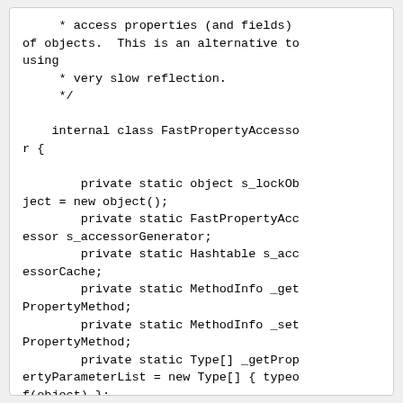* access properties (and fields) of objects.  This is an alternative to using
     * very slow reflection.
     */

    internal class FastPropertyAccessor {

        private static object s_lockObject = new object();
        private static FastPropertyAccessor s_accessorGenerator;
        private static Hashtable s_accessorCache;
        private static MethodInfo _getPropertyMethod;
        private static MethodInfo _setPropertyMethod;
        private static Type[] _getPropertyParameterList = new Type[] { typeof(object) };
        private static Type[] _setPropertyParameterList = new Type[] { typeof